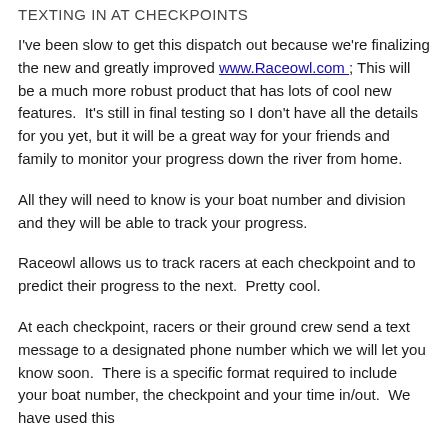TEXTING IN AT CHECKPOINTS
I've been slow to get this dispatch out because we're finalizing the new and greatly improved www.Raceowl.com ; This will be a much more robust product that has lots of cool new features.  It's still in final testing so I don't have all the details for you yet, but it will be a great way for your friends and family to monitor your progress down the river from home.
All they will need to know is your boat number and division and they will be able to track your progress.
Raceowl allows us to track racers at each checkpoint and to predict their progress to the next.  Pretty cool.
At each checkpoint, racers or their ground crew send a text message to a designated phone number which we will let you know soon.  There is a specific format required to include your boat number, the checkpoint and your time in/out.  We have used this